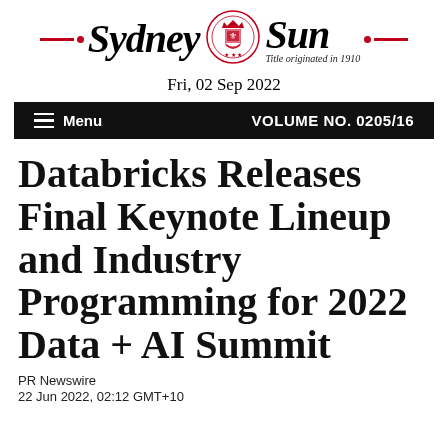Sydney Sun — Title originated in 1910
Fri, 02 Sep 2022
Menu   VOLUME NO. 0205/16
Databricks Releases Final Keynote Lineup and Industry Programming for 2022 Data + AI Summit
PR Newswire
22 Jun 2022, 02:12 GMT+10